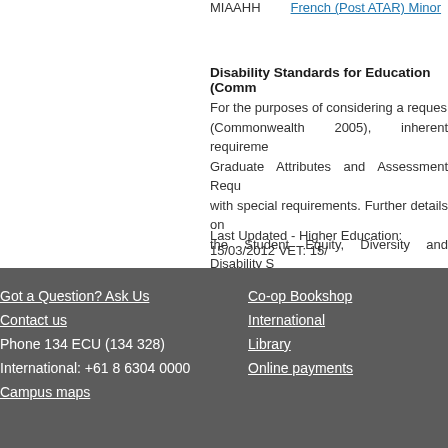MIAAHH    French (Post ATAR) Minor
Disability Standards for Education (Comm...
For the purposes of considering a reques... (Commonwealth 2005), inherent requireme... Graduate Attributes and Assessment Requ... with special requirements. Further details on... the Student Equity, Diversity and Disability S... http://intranet.ecu.edu.au/student/support/st...
Last Updated - Higher Education: 15/03/2012 VET: 15/...
Got a Question? Ask Us
Contact us
Phone 134 ECU (134 328)
International: +61 8 6304 0000
Campus maps
Co-op Bookshop
International
Library
Online payments